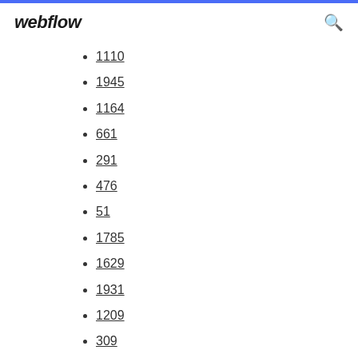webflow
1110
1945
1164
661
291
476
51
1785
1629
1931
1209
309